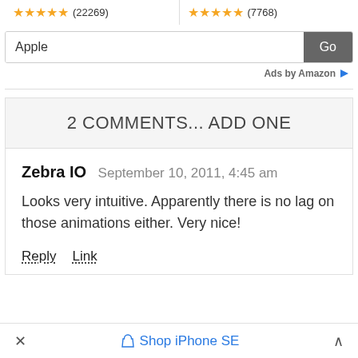[Figure (screenshot): Two rating boxes side by side: left shows 5 gold stars with (22269) reviews, right shows 5 gold stars with (7768) reviews]
[Figure (screenshot): Search input box with text 'Apple' and a grey 'Go' button]
Ads by Amazon
2 COMMENTS... ADD ONE
Zebra IO  September 10, 2011, 4:45 am
Looks very intuitive. Apparently there is no lag on those animations either. Very nice!
Reply   Link
Shop iPhone SE